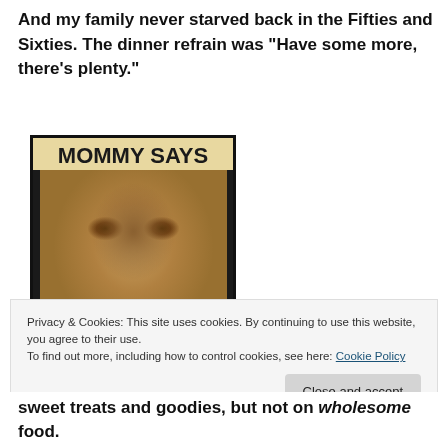And my family never starved back in the Fifties and Sixties. The dinner refrain was “Have some more, there’s plenty.”
[Figure (photo): Poster image with text 'MOMMY SAYS' at top, a sepia-toned photo of a young child's face, and text 'THE RICH MEN NEED OUR FOOD STAMPS' at bottom]
Privacy & Cookies: This site uses cookies. By continuing to use this website, you agree to their use. To find out more, including how to control cookies, see here: Cookie Policy
sweet treats and goodies, but not on wholesome food.